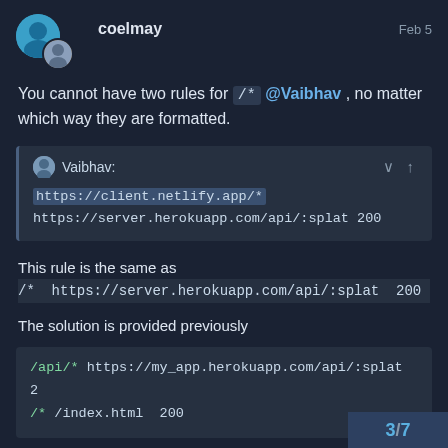coelmay  Feb 5
You cannot have two rules for /* @Vaibhav , no matter which way they are formatted.
[Figure (screenshot): Quoted message from Vaibhav showing two redirect rules: https://client.netlify.app/* and https://server.herokuapp.com/api/:splat 200]
This rule is the same as
/* https://server.herokuapp.com/api/:splat  200
The solution is provided previously
[Figure (screenshot): Code block showing: /api/* https://my_app.herokuapp.com/api/:splat 2  /* /index.html  200]
3 / 7